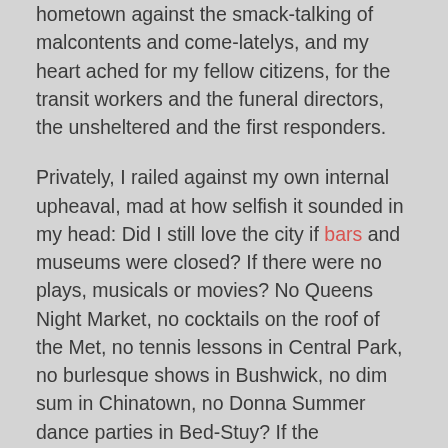hometown against the smack-talking of malcontents and come-latelys, and my heart ached for my fellow citizens, for the transit workers and the funeral directors, the unsheltered and the first responders.
Privately, I railed against my own internal upheaval, mad at how selfish it sounded in my head: Did I still love the city if bars and museums were closed? If there were no plays, musicals or movies? No Queens Night Market, no cocktails on the roof of the Met, no tennis lessons in Central Park, no burlesque shows in Bushwick, no dim sum in Chinatown, no Donna Summer dance parties in Bed-Stuy? If the spontaneity of running into an old friend or making a brand-new one had evaporated?
In mid-May, there was talk of reopening. I hadn't been on the subway in over 75 days, and I couldn't remember the last time I'd worn closed-toe shoes or pants. (Caftans — day in, day out.) Seldom-seen gray hairs, usually disguised expertly in a salon, met me in the mirror each morning. Both my toenails and my dog's